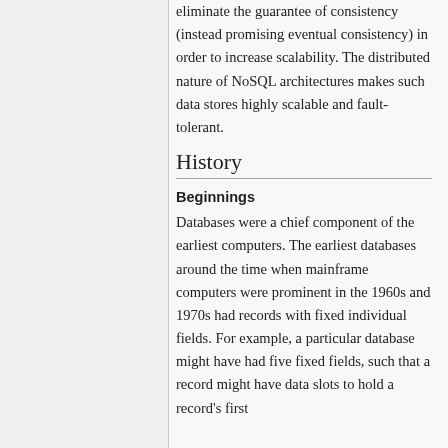supporting relations. Some systems eliminate the guarantee of consistency (instead promising eventual consistency) in order to increase scalability. The distributed nature of NoSQL architectures makes such data stores highly scalable and fault-tolerant.
History
Beginnings
Databases were a chief component of the earliest computers. The earliest databases around the time when mainframe computers were prominent in the 1960s and 1970s had records with fixed individual fields. For example, a particular database might have had five fixed fields, such that a record might have data slots to hold a record's first